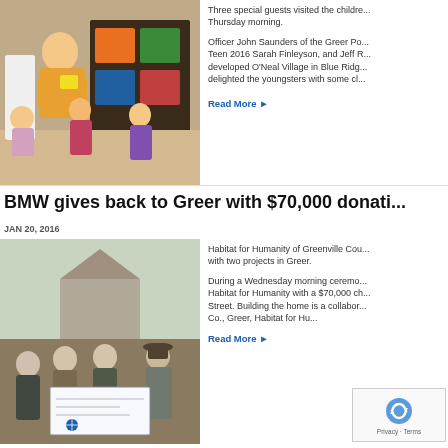[Figure (photo): Man in yellow shirt reading/showing something to children sitting on the floor in a classroom setting with toys and shelves in the background]
Three special guests visited the childre... Thursday morning.
Officer John Saunders of the Greer Po... Teen 2016 Sarah Finleyson, and Jeff R... developed O'Neal Village in Blue Ridg... delighted the youngsters with some cl...
Read More ▶
BMW gives back to Greer with $70,000 donati...
JAN 20, 2016
[Figure (photo): Four men standing outdoors holding a large ceremonial check, appearing to be at a Habitat for Humanity donation ceremony]
Habitat for Humanity of Greenville Cou... with two projects in Greer.
During a Wednesday morning ceremo... Habitat for Humanity with a $70,000 ch... Street. Building the home is a collabor... Co., Greer, Habitat for Hu...
Read More ▶